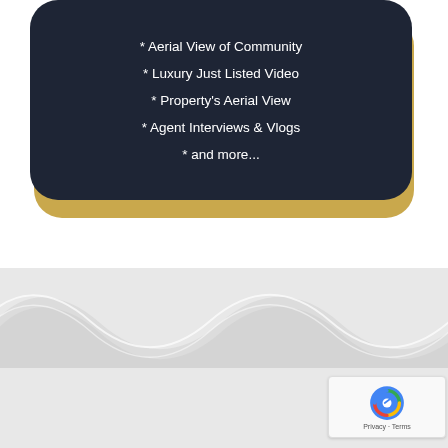* Aerial View of Community
* Luxury Just Listed Video
* Property's Aerial View
* Agent Interviews & Vlogs
* and more...
[Figure (illustration): Wave pattern decorative footer with light gray wavy shapes on gray background, with reCAPTCHA badge in lower right corner]